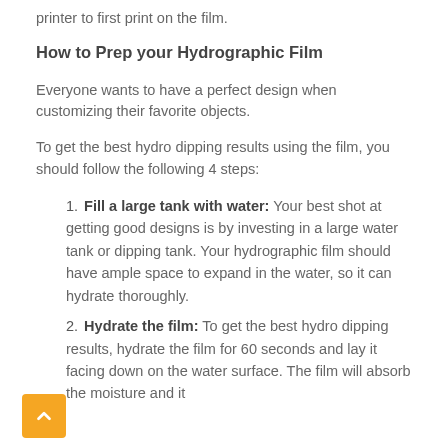printer to first print on the film.
How to Prep your Hydrographic Film
Everyone wants to have a perfect design when customizing their favorite objects.
To get the best hydro dipping results using the film, you should follow the following 4 steps:
Fill a large tank with water: Your best shot at getting good designs is by investing in a large water tank or dipping tank. Your hydrographic film should have ample space to expand in the water, so it can hydrate thoroughly.
Hydrate the film: To get the best hydro dipping results, hydrate the film for 60 seconds and lay it facing down on the water surface. The film will absorb the moisture and it...